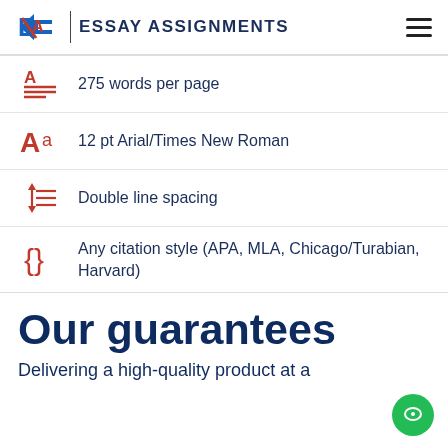EA | ESSAY ASSIGNMENTS
275 words per page
12 pt Arial/Times New Roman
Double line spacing
Any citation style (APA, MLA, Chicago/Turabian, Harvard)
Our guarantees
Delivering a high-quality product at a